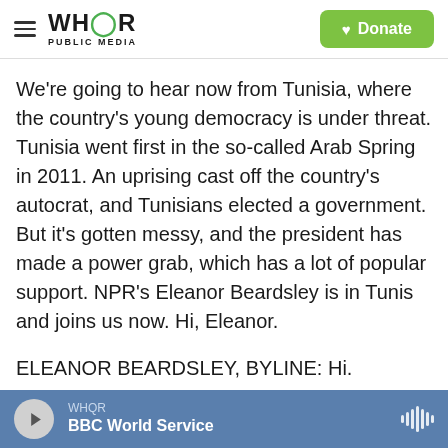WHQR PUBLIC MEDIA | Donate
We're going to hear now from Tunisia, where the country's young democracy is under threat. Tunisia went first in the so-called Arab Spring in 2011. An uprising cast off the country's autocrat, and Tunisians elected a government. But it's gotten messy, and the president has made a power grab, which has a lot of popular support. NPR's Eleanor Beardsley is in Tunis and joins us now. Hi, Eleanor.
ELEANOR BEARDSLEY, BYLINE: Hi.
MCCAMMON: So can you tell us, first of all, about what the president has been doing that has raised
WHQR | BBC World Service